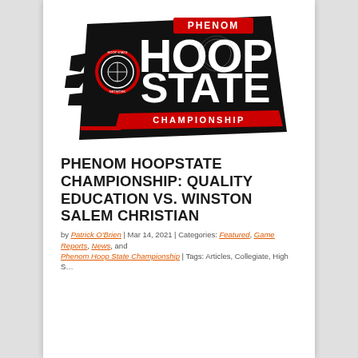[Figure (logo): Phenom Hoop State Championship logo — black angular banner with large white bold text 'HOOP STATE', red banner 'PHENOM' at top, red banner 'CHAMPIONSHIP' at bottom, basketball graphic, and circular Hoop State Network emblem on left.]
PHENOM HOOPSTATE CHAMPIONSHIP: QUALITY EDUCATION VS. WINSTON SALEM CHRISTIAN
by Patrick O'Brien | Mar 14, 2021 | Categories: Featured, Game Reports, News, and Phenom Hoop State Championship | Tags: Articles, Collegiate, High S…